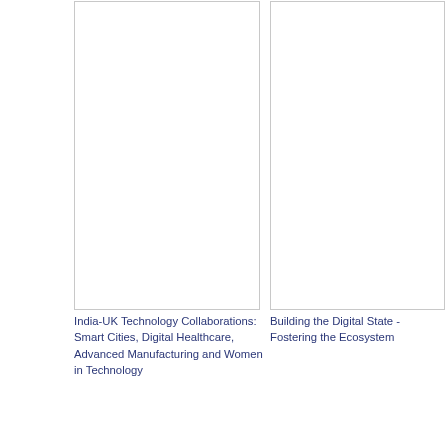[Figure (photo): Top-left image placeholder - white/empty box]
[Figure (photo): Top-right image placeholder - white/empty box]
India-UK Technology Collaborations: Smart Cities, Digital Healthcare, Advanced Manufacturing and Women in Technology
Building the Digital State - Fostering the Ecosystem
[Figure (photo): Bottom-left image placeholder - white/empty box]
[Figure (photo): Bottom-right image placeholder - white/empty box]